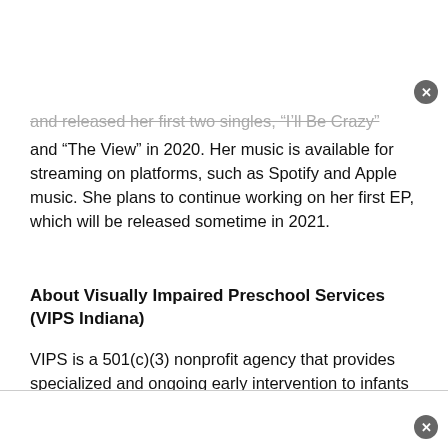and released her first two singles, "I'll Be Crazy" and "The View" in 2020. Her music is available for streaming on platforms, such as Spotify and Apple music. She plans to continue working on her first EP, which will be released sometime in 2021.
About Visually Impaired Preschool Services (VIPS Indiana)
VIPS is a 501(c)(3) nonprofit agency that provides specialized and ongoing early intervention to infants and toddlers, ages birth to